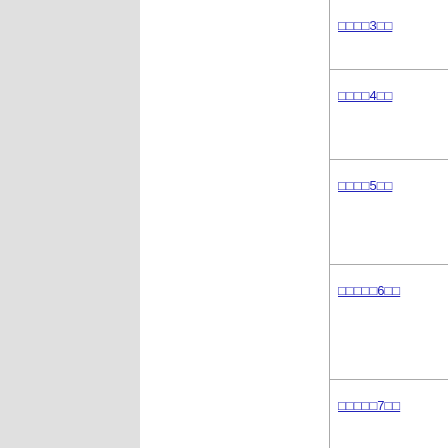□□□□3□□
□□□□4□□
□□□□5□□
□□□□□6□□
□□□□□7□□
□□□□□8□□